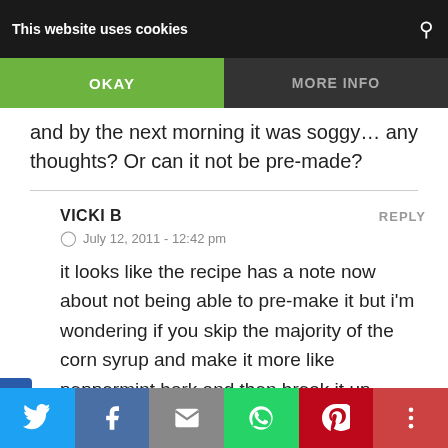This website uses cookies | OKAY | MORE INFO
and by the next morning it was soggy… any thoughts? Or can it not be pre-made?
VICKI B  REPLY
© July 12, 2011 - 12:42 pm
it looks like the recipe has a note now about not being able to pre-make it but i'm wondering if you skip the majority of the corn syrup and make it more like peppermint bark and then break it up.
Twitter | Facebook | Email | WhatsApp | Pinterest | More